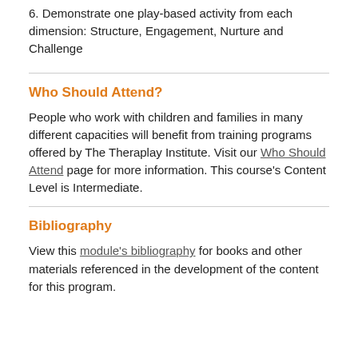6. Demonstrate one play-based activity from each dimension: Structure, Engagement, Nurture and Challenge
Who Should Attend?
People who work with children and families in many different capacities will benefit from training programs offered by The Theraplay Institute. Visit our Who Should Attend page for more information. This course's Content Level is Intermediate.
Bibliography
View this module's bibliography for books and other materials referenced in the development of the content for this program.